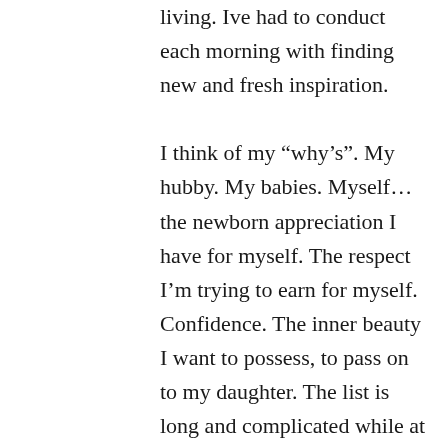living. Ive had to conduct each morning with finding new and fresh inspiration. I think of my “why’s”. My hubby. My babies. Myself…the newborn appreciation I have for myself. The respect I’m trying to earn for myself. Confidence. The inner beauty I want to possess, to pass on to my daughter. The list is long and complicated while at the same time predictable…you get the picture. I think of how my brother has quit smoking, cold turkey and has now sailed past 30 days, while sharing a